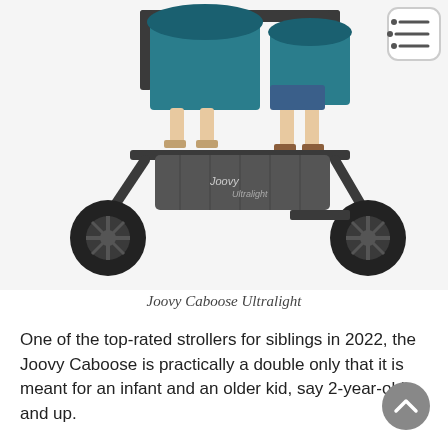[Figure (photo): A Joovy Caboose Ultralight tandem stroller with two children riding on it, showing large black wheels and teal/gray seat fabric, photographed from the front-right angle.]
Joovy Caboose Ultralight
One of the top-rated strollers for siblings in 2022, the Joovy Caboose is practically a double only that it is meant for an infant and an older kid, say 2-year-old and up.
This is a highly functional and inexpensive double stroller that comes in 5 color schemes. But what makes the Joovy Caboose Ultralight one of the